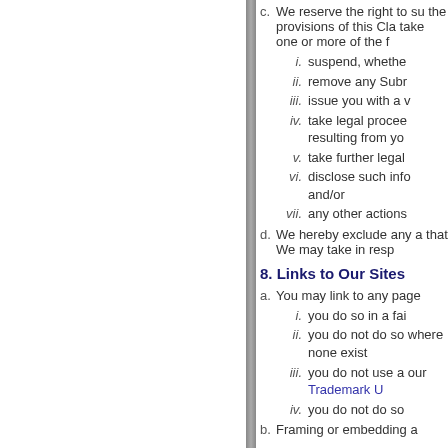c. We reserve the right to suspend, whether temporarily or permanently, your account or access to the provisions of this Clause and/or to take one or more of the following actions:
i. suspend, whether
ii. remove any Subm
iii. issue you with a w
iv. take legal proceedings resulting from your
v. take further legal
vi. disclose such info and/or
vii. any other actions
d. We hereby exclude any a that We may take in resp
8. Links to Our Sites
a. You may link to any page
i. you do so in a fai
ii. you do not do so where none exist
iii. you do not use a our Trademark U
iv. you do not do so
b. Framing or embedding a